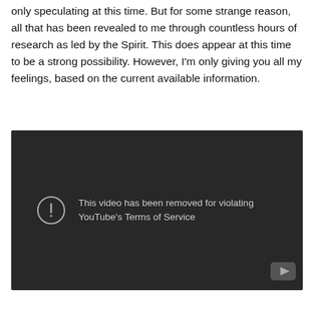only speculating at this time. But for some strange reason, all that has been revealed to me through countless hours of research as led by the Spirit. This does appear at this time to be a strong possibility. However, I'm only giving you all my feelings, based on the current available information.
[Figure (screenshot): YouTube video player showing error message: 'This video has been removed for violating YouTube's Terms of Service' on a dark background with a warning icon and YouTube play button logo in the bottom right.]